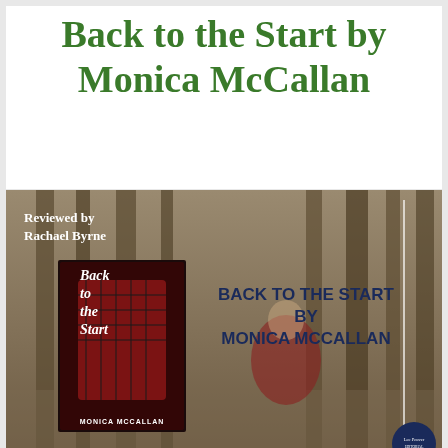Back to the Start by Monica McCallan
[Figure (photo): Promotional banner image for the book 'Back to the Start' by Monica McCallan. Shows a forest background with tall trees. Overlay text reads 'BACK TO THE START BY MONICA MCCALLAN'. A book cover is shown on the left. 'Reviewed by Rachael Byrne' is written in the top-left. A navy publisher logo circle appears bottom-right.]
Sometimes it is good to look back!
What was the book about?